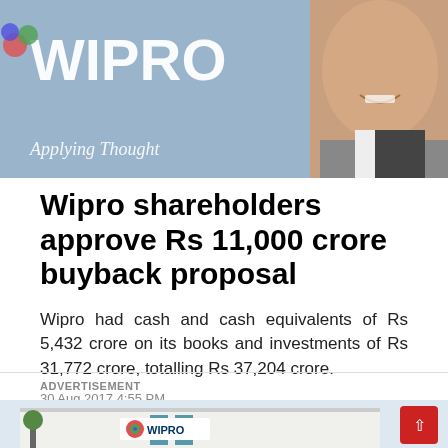[Figure (photo): Wipro branded backdrop with 'Applying Thought' tagline and a man smiling in a suit on the right side]
Wipro shareholders approve Rs 11,000 crore buyback proposal
Wipro had cash and cash equivalents of Rs 5,432 crore on its books and investments of Rs 31,772 crore, totalling Rs 37,204 crore.
30 Aug 2017 4:55 PM
ADVERTISEMENT
[Figure (photo): Wipro office building exterior with Wipro logo and colorful globe icon]